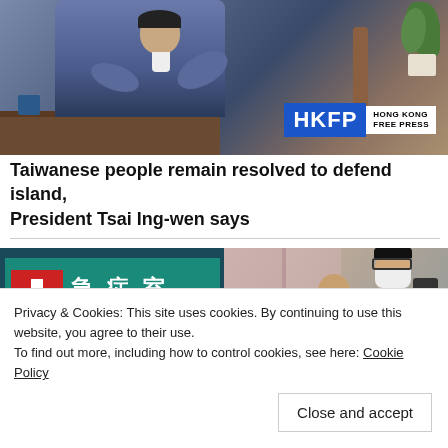[Figure (photo): A person in a blue suit seated in a chair, gesturing with hands, with a plant and wooden furniture in background. HKFP Hong Kong Free Press logo overlay at bottom right.]
Taiwanese people remain resolved to defend island, President Tsai Ing-wen says
[Figure (photo): Left side: Hospital sign reading 急症室 (Accident & Emergency Department) with red cross on teal background. Right side: Person wearing mask and glasses with camera equipment.]
Privacy & Cookies: This site uses cookies. By continuing to use this website, you agree to their use.
To find out more, including how to control cookies, see here: Cookie Policy
Close and accept